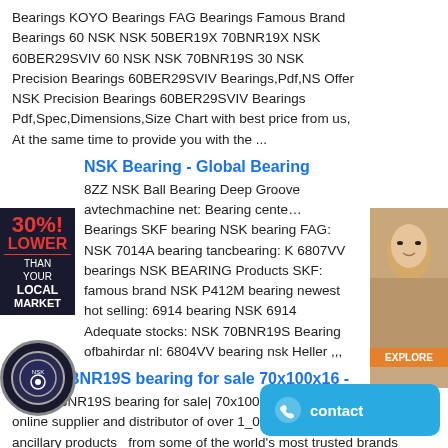Bearings KOYO Bearings FAG Bearings Famous Brand Bearings 60 NSK NSK 50BER19X 70BNR19X NSK 60BER29SVIV 60 NSK NSK 70BNR19S 30 NSK Precision Bearings 60BER29SVIV Bearings,Pdf,NS Offer NSK Precision Bearings 60BER29SVIV Bearings Pdf,Spec,Dimensions,Size Chart with best price from us, At the same time to provide you with the ...
NSK Bearing - Global Bearing
8ZZ NSK Ball Bearing Deep Groove avtechmachine net: Bearing center Bearings SKF bearing NSK bearing FAG: NSK 7014A bearing tancbearing: K 6807VV bearings NSK BEARING Products SKF: famous brand NSK P412M bearing newest hot selling: 6914 bearing NSK 6914 Adequate stocks: NSK 70BNR19S Bearing ofbahirdar nl: 6804VV bearing nsk Heller ...
NSK 70BNR19S bearing for sale 70x100x16 -
NSK 70BNR19S bearing for sale| 70x100x16| Bearing a is a leading online supplier and distributor of over 1_000_000 bearings and ancillary products_ from some of the world's most trusted brands including SKF_ FAG_ NTN_ NSK_ Timken_ INA_ IKO cheap NSK 6013·Z bearings for sale||
80 BNR 10 H TYN DBB EL P4 - SKY
70BNR19S 70 100 16 1,0 0,6 26,1 0,328 16 500 23 600 70B… 0,6 21,3 18,1 17,1 21,8 0,292 21 200 33 000 ,,, Bearing (mm) (kg) Sealed (min 1) r r1 Cr C 0rLoad (1) (mm) Design Boundary Dimensions